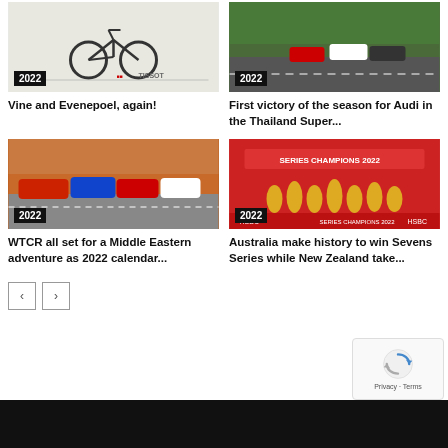[Figure (photo): Cycling race image with Tissot branding, showing bicycle, year badge 2022]
Vine and Evenepoel, again!
[Figure (photo): Racing cars on track, Audi Thailand Super, year badge 2022]
First victory of the season for Audi in the Thailand Super...
[Figure (photo): WTCR touring cars racing, year badge 2022]
WTCR all set for a Middle Eastern adventure as 2022 calendar...
[Figure (photo): Australia rugby sevens team celebrating Series Champions 2022, year badge 2022]
Australia make history to win Sevens Series while New Zealand take...
< >
[Figure (logo): reCAPTCHA logo with Privacy and Terms links]